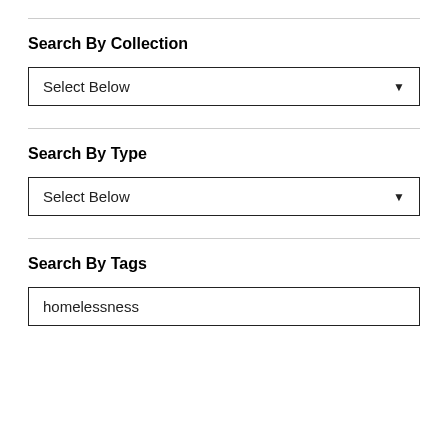Search By Collection
[Figure (screenshot): Dropdown widget showing 'Select Below' with down arrow]
Search By Type
[Figure (screenshot): Dropdown widget showing 'Select Below' with down arrow]
Search By Tags
homelessness